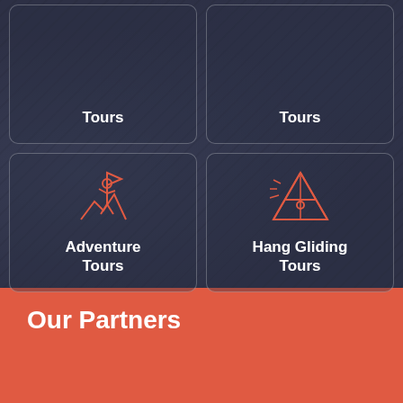[Figure (illustration): Grid of tour category cards on dark rocky background. Top row (partially visible): two cards each labeled 'Tours'. Bottom row: Adventure Tours card with orange hiking/adventure icon, Hang Gliding Tours card with orange hang glider icon inside triangle.]
Adventure Tours
Hang Gliding Tours
Our Partners